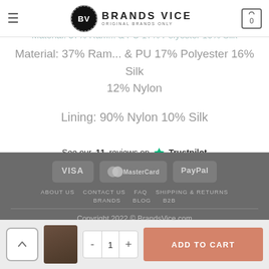Brands Vice - Original Brands Only
Material: 37% Ram... & PU 17% Polyester 16% Silk 12% Nylon
Lining: 90% Nylon 10% Silk
See our 11 reviews on ★ Trustpilot
VISA  MasterCard  PayPal
ABOUT US  CONTACT US  FAQ  SHIPPING & RETURNS  BRANDS  BLOG  B2B
Copyright 2022 © BrandsVice.com
Fashion Brands Outlet